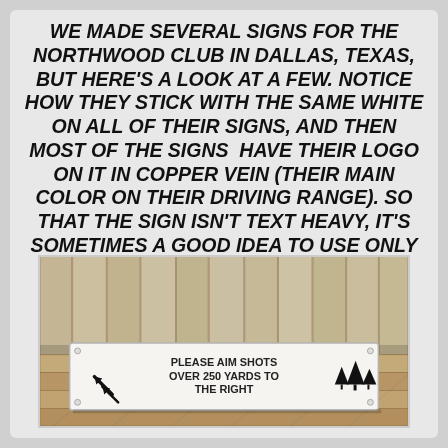WE MADE SEVERAL SIGNS FOR THE NORTHWOOD CLUB IN DALLAS, TEXAS, BUT HERE'S A LOOK AT A FEW. NOTICE HOW THEY STICK WITH THE SAME WHITE ON ALL OF THEIR SIGNS, AND THEN MOST OF THE SIGNS HAVE THEIR LOGO ON IT IN COPPER VEIN (THEIR MAIN COLOR ON THEIR DRIVING RANGE). SO THAT THE SIGN ISN'T TEXT HEAVY, IT'S SOMETIMES A GOOD IDEA TO USE ONLY THE ICON PART OF YOUR LOGO.
[Figure (photo): A white rectangular sign mounted on a wooden plank wall background. The sign reads 'PLEASE AIM SHOTS OVER 250 YARDS TO THE RIGHT' with a diagonal arrow icon on the left and three tree icons on the right. The sign is white with black text and icons, with screws at corners.]